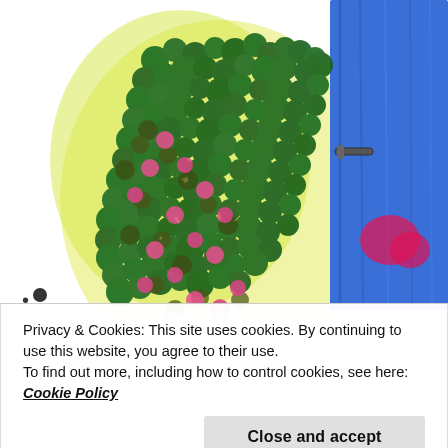[Figure (illustration): Colorful hand-drawn illustration of a lush garden with green foliage, pink flowers, yellow bows, and a blue wooden door with a metal handle. Watermark reads 'the Painted Apron'.]
Privacy & Cookies: This site uses cookies. By continuing to use this website, you agree to their use.
To find out more, including how to control cookies, see here: Cookie Policy
Close and accept